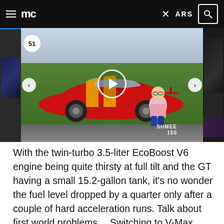mc | ARS
[Figure (photo): A carousel of car images showing a red Ford GT with yellow stripes (center, with play button overlay and badge number 51), partial views of other cars on left and right sides. A person is crouching next to the Ford GT. Shmee150 watermark visible. Navigation arrows on left and right.]
With the twin-turbo 3.5-liter EcoBoost V6 engine being quite thirsty at full tilt and the GT having a small 15.2-gallon tank, it's no wonder the fuel level dropped by a quarter only after a couple of hard acceleration runs. Talk about first world problems… Switching to V-Max mode really made a difference not just in terms of absolute top speed, but getting there, too. It got up to 202 mph (324 km/h) per the digital speedo or 195 mph (314 km/h) according to the app on Shmee's